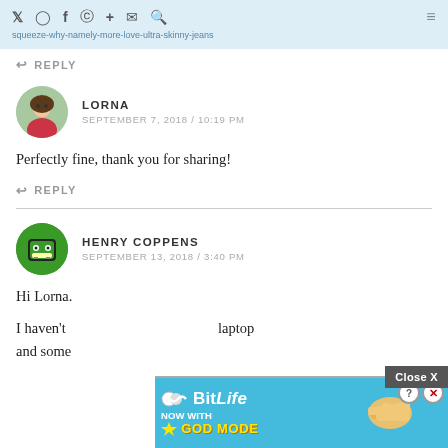squeeze-why-namely-more-love-ultra-skinny-jeans - [URL shown in header bar]
↩ REPLY
LORNA
SEPTEMBER 7, 2018 / 10:19 PM
Perfectly fine, thank you for sharing!
↩ REPLY
HENRY COPPENS
SEPTEMBER 13, 2018 / 3:40 PM
Hi Lorna.
I haven't [text cut off] laptop and some[text cut off]
[Figure (screenshot): Advertisement overlay for BitLife 'Now With God Mode', with Close X button and help/close icons]